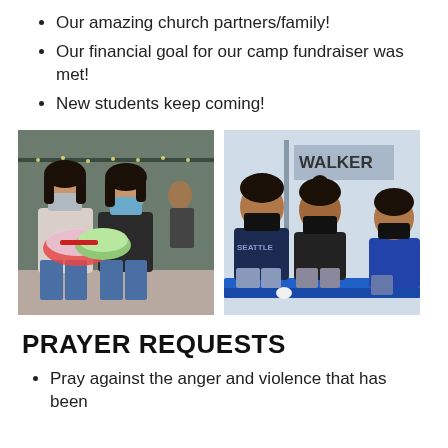Our amazing church partners/family!
Our financial goal for our camp fundraiser was met!
New students keep coming!
[Figure (photo): Two teenage girls wearing blue face masks, holding rolled-up sleeping bags/blankets in an indoor room with decorative lights in background.]
[Figure (photo): Three teenagers wearing black face masks seated on a blue bench in what appears to be a gym or community center with a WALKER sign visible in background.]
PRAYER REQUESTS
Pray against the anger and violence that has been